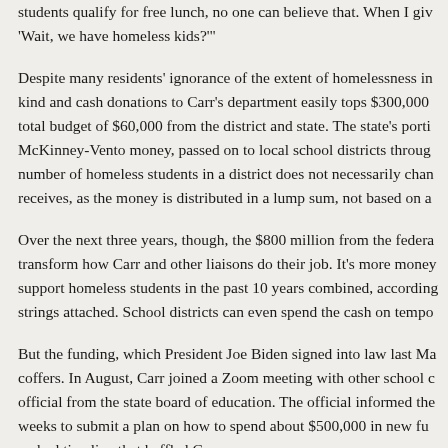students qualify for free lunch, no one can believe that. When I give 'Wait, we have homeless kids?'
Despite many residents' ignorance of the extent of homelessness in kind and cash donations to Carr's department easily tops $300,000 total budget of $60,000 from the district and state. The state's porti McKinney-Vento money, passed on to local school districts through number of homeless students in a district does not necessarily chan receives, as the money is distributed in a lump sum, not based on a
Over the next three years, though, the $800 million from the federa transform how Carr and other liaisons do their job. It's more money support homeless students in the past 10 years combined, according strings attached. School districts can even spend the cash on tempo
But the funding, which President Joe Biden signed into law last Ma coffers. In August, Carr joined a Zoom meeting with other school c official from the state board of education. The official informed the weeks to submit a plan on how to spend about $500,000 in new fu rushed timeline that baffled Carr.